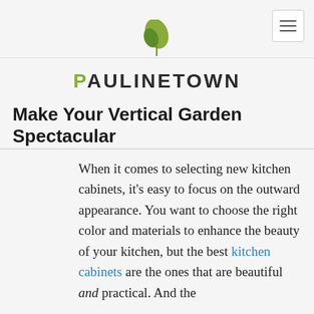PAULINETOWN
Make Your Vertical Garden Spectacular
When it comes to selecting new kitchen cabinets, it's easy to focus on the outward appearance. You want to choose the right color and materials to enhance the beauty of your kitchen, but the best kitchen cabinets are the ones that are beautiful and practical. And the